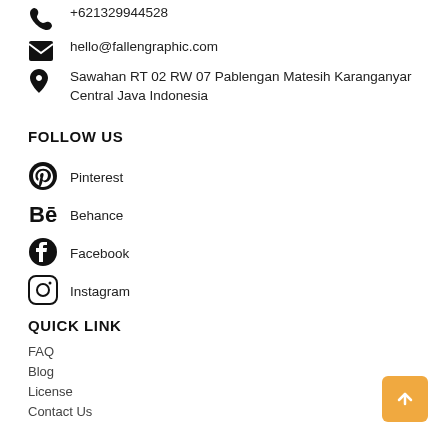+621329944528
hello@fallengraphic.com
Sawahan RT 02 RW 07 Pablengan Matesih Karanganyar Central Java Indonesia
FOLLOW US
Pinterest
Behance
Facebook
Instagram
QUICK LINK
FAQ
Blog
License
Contact Us